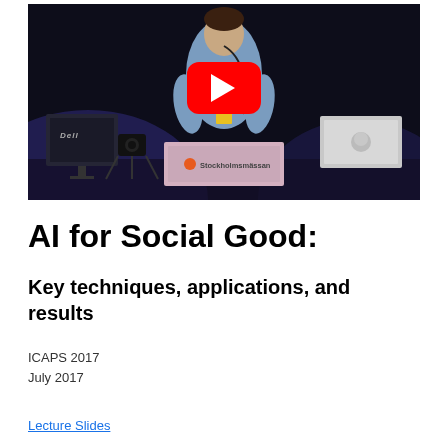[Figure (screenshot): YouTube video thumbnail showing a presenter on stage at Stockholmsmässan with a Dell monitor, laptop, and camera equipment. A red YouTube play button overlay is centered on the image.]
AI for Social Good:
Key techniques, applications, and results
ICAPS 2017
July 2017
Lecture Slides